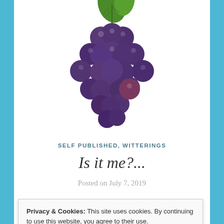[Figure (photo): A bunch of dark purple/blue grapes with a green leaf on top, on a white background, partially cropped at top.]
SELF PUBLISHED, WITTERINGS
Is it me?...
Posted on July 7, 2019
Privacy & Cookies: This site uses cookies. By continuing to use this website, you agree to their use.
To find out more, including how to control cookies, see here:
Cookie Policy